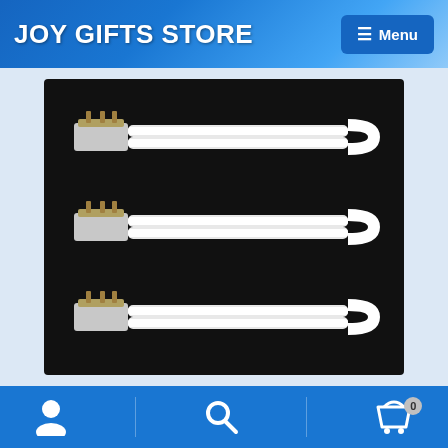JOY GIFTS STORE  Menu
[Figure (photo): Three white U-shaped UV lamp tube light bulbs with gold pin connectors displayed against a black background]
4pcs 9w UV Lamp Tube Light Bulbs Gel Nail Art Dryer
Account icon | Search icon | Cart icon (0)